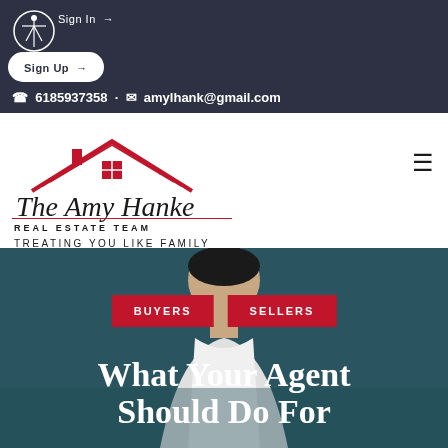Sign In → Sign Up →
6185937358 · amylhank@gmail.com
[Figure (logo): The Amy Hanke Real Estate Team logo with house roofline graphic and script text. Tagline: TREATING YOU LIKE FAMILY]
[Figure (photo): Person (man) looking down, dark teal background]
BUYERS   SELLERS
What Your Agent Should Do For